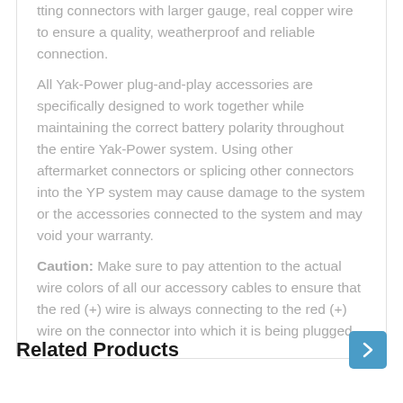tting connectors with larger gauge, real copper wire to ensure a quality, weatherproof and reliable connection.
All Yak-Power plug-and-play accessories are specifically designed to work together while maintaining the correct battery polarity throughout the entire Yak-Power system. Using other aftermarket connectors or splicing other connectors into the YP system may cause damage to the system or the accessories connected to the system and may void your warranty.
Caution: Make sure to pay attention to the actual wire colors of all our accessory cables to ensure that the red (+) wire is always connecting to the red (+) wire on the connector into which it is being plugged.
Related Products